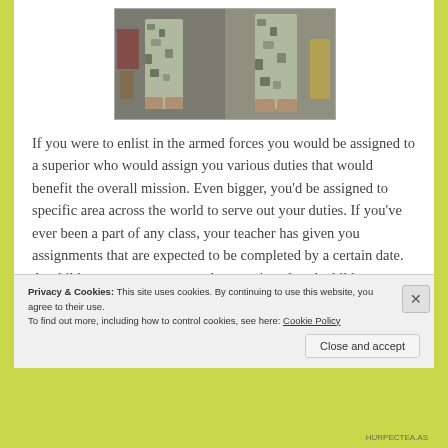[Figure (photo): Two people standing wearing military camouflage uniforms and boots, photographed from approximately waist down]
If you were to enlist in the armed forces you would be assigned to a superior who would assign you various duties that would benefit the overall mission. Even bigger, you'd be assigned to specific area across the world to serve out your duties. If you've ever been a part of any class, your teacher has given you assignments that are expected to be completed by a certain date. As children, your parents may have assigned each child a different
Privacy & Cookies: This site uses cookies. By continuing to use this website, you agree to their use.
To find out more, including how to control cookies, see here: Cookie Policy